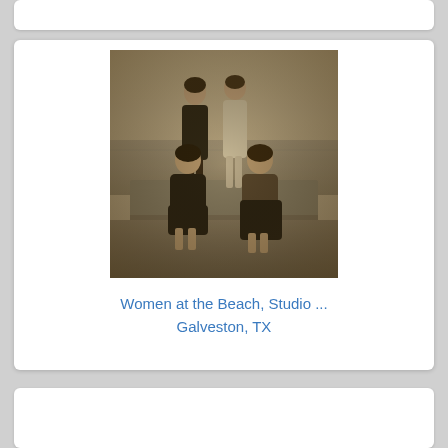[Figure (photo): Sepia-toned vintage photograph of four women at a beach. Two women stand in the back, two sit in the front. They are dressed in early 20th century clothing. The ocean is visible in the background.]
Women at the Beach, Studio ... Galveston, TX